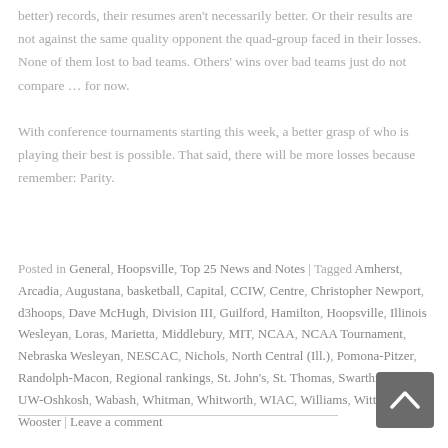better) records, their resumes aren't necessarily better. Or their results are not against the same quality opponent the quad-group faced in their losses. None of them lost to bad teams. Others' wins over bad teams just do not compare … for now.
With conference tournaments starting this week, a better grasp of who is playing their best is possible. That said, there will be more losses because remember: Parity.
Posted in General, Hoopsville, Top 25 News and Notes | Tagged Amherst, Arcadia, Augustana, basketball, Capital, CCIW, Centre, Christopher Newport, d3hoops, Dave McHugh, Division III, Guilford, Hamilton, Hoopsville, Illinois Wesleyan, Loras, Marietta, Middlebury, MIT, NCAA, NCAA Tournament, Nebraska Wesleyan, NESCAC, Nichols, North Central (Ill.), Pomona-Pitzer, Randolph-Macon, Regional rankings, St. John's, St. Thomas, Swarthmore, UW-Oshkosh, Wabash, Whitman, Whitworth, WIAC, Williams, Wittenberg, Wooster | Leave a comment